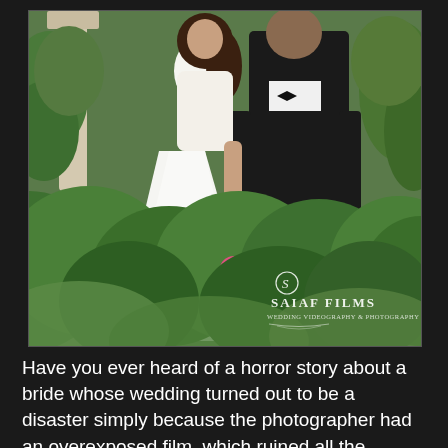[Figure (photo): Wedding photo of a bride in a white lace gown and a groom in a black tuxedo holding hands and walking through a garden with green foliage and pink flowers in the foreground. A watermark in the lower right reads 'SAIAF FILMS'.]
Have you ever heard of a horror story about a bride whose wedding turned out to be a disaster simply because the photographer had an overexposed film, which ruined all the